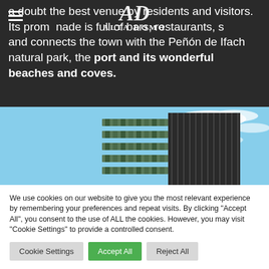[Figure (screenshot): Dark header section of Alta Domo real estate website showing partial text about a location with promenade, bars, restaurants, and Peñón de Ifach natural park, with hamburger menu icon and Alta Domo logo overlay]
a doubt the best venue by residents and visitors. Its promenade is full of bars, restaurants, shops and connects the town with the Peñón de Ifach natural park, the port and its wonderful beaches and coves.
[Figure (photo): Modern apartment building photographed from below against a blue sky with clouds, showing green vegetation on balconies and dark vertical facade panels]
We use cookies on our website to give you the most relevant experience by remembering your preferences and repeat visits. By clicking "Accept All", you consent to the use of ALL the cookies. However, you may visit "Cookie Settings" to provide a controlled consent.